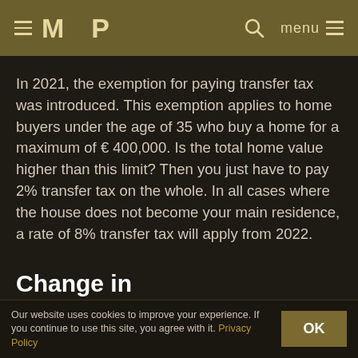≡ M P   🔍   menu ≡
In 2021, the exemption for paying transfer tax was introduced. This exemption applies to home buyers under the age of 35 who buy a home for a maximum of € 400,000. Is the total home value higher than this limit? Then you just have to pay 2% transfer tax on the whole. In all cases where the house does not become your main residence, a rate of 8% transfer tax will apply from 2022.
Change in "Eigenwoningregeling" home ownership regulation 2022
Our website uses cookies to improve your experience. If you continue to use this site, you agree with it. Privacy Policy   OK